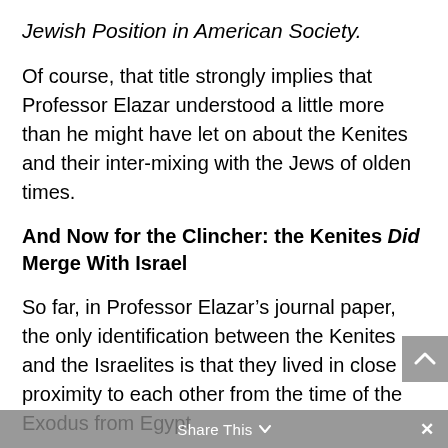Jewish Position in American Society.
Of course, that title strongly implies that Professor Elazar understood a little more than he might have let on about the Kenites and their inter-mixing with the Jews of olden times.
And Now for the Clincher: the Kenites Did Merge With Israel
So far, in Professor Elazar’s journal paper, the only identification between the Kenites and the Israelites is that they lived in close proximity to each other from the time of the Exodus from Egypt